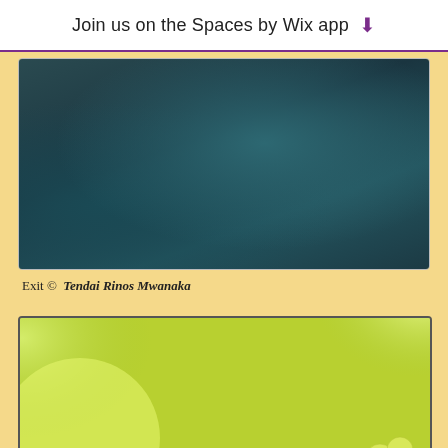Join us on the Spaces by Wix app ⬇
[Figure (photo): Dark teal/green blurred background photo, top portion visible]
Exit © Tendai Rinos Mwanaka
[Figure (photo): Close-up macro photo of bees on yellow-green flowering plant, two bees visible on small clustered flowers with blurred green background]
© James Pritchett via unsplash.com
[Figure (photo): Partial view of another photo at the bottom of the page, teal/blue tones]